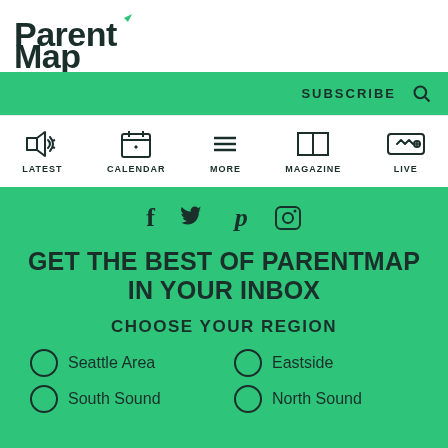[Figure (logo): ParentMap logo with green leaf accent]
SUBSCRIBE  🔍
[Figure (infographic): Navigation icon bar with LATEST (megaphone), CALENDAR (calendar with heart), MORE (hamburger), MAGAZINE (open book), LIVE (ticket) icons]
[Figure (infographic): Social media icons row: Facebook, Twitter, Pinterest, Instagram]
GET THE BEST OF PARENTMAP IN YOUR INBOX
CHOOSE YOUR REGION
Seattle Area
Eastside
South Sound
North Sound